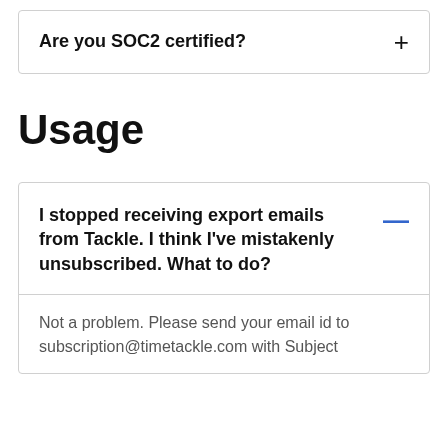Are you SOC2 certified?
Usage
I stopped receiving export emails from Tackle. I think I've mistakenly unsubscribed. What to do?
Not a problem. Please send your email id to subscription@timetackle.com with Subject